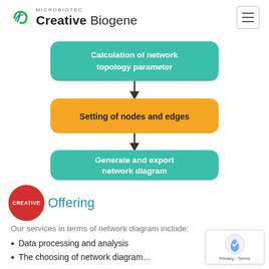[Figure (logo): Creative Biogene MICROBIOTEC logo with green arrow/leaf icon]
[Figure (flowchart): Flowchart with three boxes: (1) teal box 'Calculation of network topology parameter', arrow down, (2) orange box 'Setting of nodes and edges', arrow down, (3) teal box 'Generate and export network diagram']
Offering
Our services in terms of network diagram include:
Data processing and analysis
The choosing of network diagram...